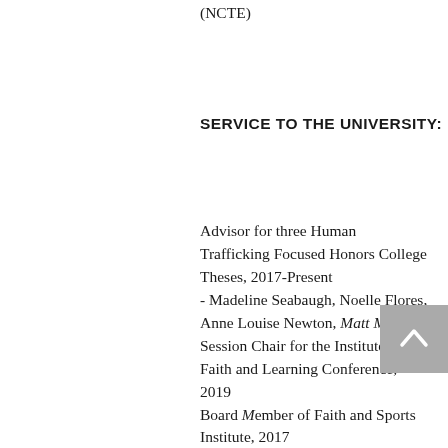(NCTE)
SERVICE TO THE UNIVERSITY:
Advisor for three Human Trafficking Focused Honors College Theses, 2017-Present
- Madeline Seabaugh, Noelle Flores, Anne Louise Newton, Matt Martens
Session Chair for the Institute for Faith and Learning Conference, 2019
Board Member of Faith and Sports Institute, 2017
Board Member of Baylor University's Leadership Lecture Series Speaker Committee, 2015-2017